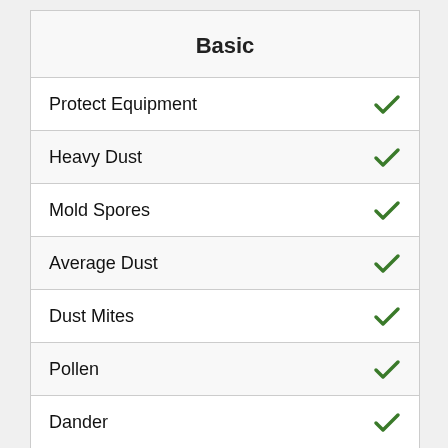Basic
| Feature | Basic |
| --- | --- |
| Protect Equipment | ✓ |
| Heavy Dust | ✓ |
| Mold Spores | ✓ |
| Average Dust | ✓ |
| Dust Mites | ✓ |
| Pollen | ✓ |
| Dander | ✓ |
| Fine Dust | ✗ |